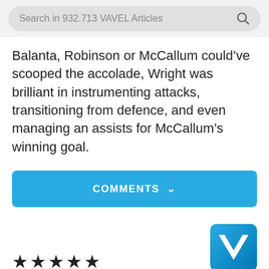Search in 932.713 VAVEL Articles
Balanta, Robinson or McCallum could’ve scooped the accolade, Wright was brilliant in instrumenting attacks, transitioning from defence, and even managing an assists for McCallum’s winning goal.
COMMENTS
★★★★★